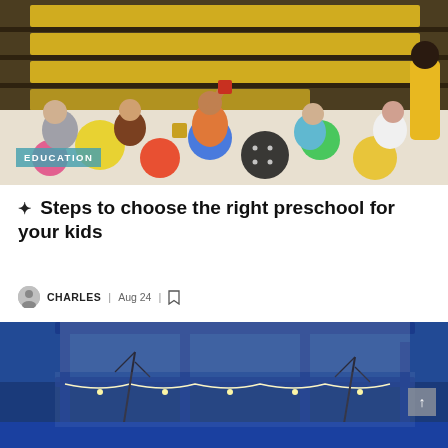[Figure (photo): Children sitting on a colorful dotted mat playing with letter blocks in a preschool classroom with yellow shelving in the background. A banner reads EDUCATION.]
✦ Steps to choose the right preschool for your kids
CHARLES | Aug 24 | [bookmark]
[Figure (photo): Night/dusk exterior photo of a modern building with blue steel frame structure and string lights underneath, against a blue sky.]